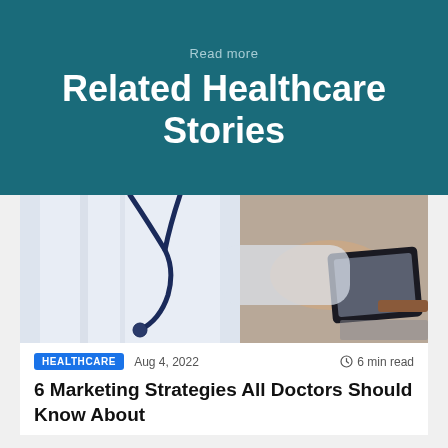Read more
Related Healthcare Stories
[Figure (photo): Doctor in white coat with stethoscope using a tablet device, viewed from mid-torso down showing hands touching tablet screen]
HEALTHCARE   Aug 4, 2022   🕐 6 min read
6 Marketing Strategies All Doctors Should Know About